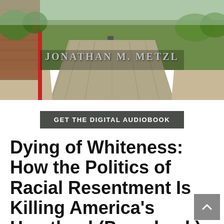[Figure (photo): Book cover photo showing a rural road with brick pavement stretching into the distance, green grass and trees on the sides, with author name 'JONATHAN M. METZL' overlaid in white text]
GET THE DIGITAL AUDIOBOOK
Dying of Whiteness: How the Politics of Racial Resentment Is Killing America's Heartland (Paperback)
By Jonathan M. Metzl